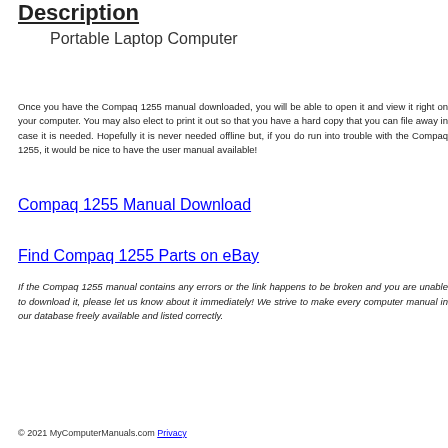Description
Portable Laptop Computer
Once you have the Compaq 1255 manual downloaded, you will be able to open it and view it right on your computer. You may also elect to print it out so that you have a hard copy that you can file away in case it is needed. Hopefully it is never needed offline but, if you do run into trouble with the Compaq 1255, it would be nice to have the user manual available!
Compaq 1255 Manual Download
Find Compaq 1255 Parts on eBay
If the Compaq 1255 manual contains any errors or the link happens to be broken and you are unable to download it, please let us know about it immediately! We strive to make every computer manual in our database freely available and listed correctly.
© 2021 MyComputerManuals.com Privacy